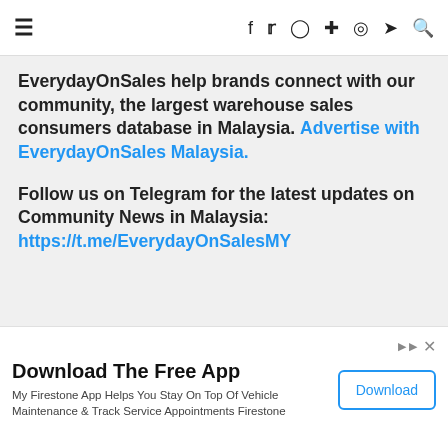≡  f  𝕏  ⊙  ⊕  ◎  ✈  🔍
EverydayOnSales help brands connect with our community, the largest warehouse sales consumers database in Malaysia. Advertise with EverydayOnSales Malaysia.
Follow us on Telegram for the latest updates on Community News in Malaysia: https://t.me/EverydayOnSalesMY
ZUS COFFEE
[Figure (other): Chevron / expand button]
[Figure (other): Advertisement banner: Download The Free App - My Firestone App Helps You Stay On Top Of Vehicle Maintenance & Track Service Appointments Firestone. Download button.]